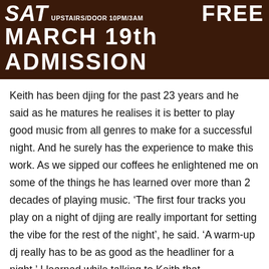[Figure (other): Dark brown banner with white text. Top line: 'SAT' in large italic bold, followed by small text 'UPSTAIRS DOOR 10PM/3AM', and 'FREE' on the right. Bottom line: 'MARCH 19th  ADMISSION' in large bold white text.]
Keith has been djing for the past 23 years and he said as he matures he realises it is better to play good music from all genres to make for a successful night. And he surely has the experience to make this work. As we sipped our coffees he enlightened me on some of the things he has learned over more than 2 decades of playing music. ‘The first four tracks you play on a night of djing are really important for setting the vibe for the rest of the night’, he said. ‘A warm-up dj really has to be as good as the headliner for a night.’ I learned while talking to Keith that successfully playing a whole genre of music on one night really is a skill that has to be honed over many years of really learning about music and understanding what works.